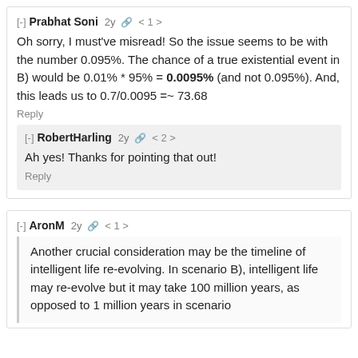[-] Prabhat Soni 2y 🔗 < 1 >
Oh sorry, I must've misread! So the issue seems to be with the number 0.095%. The chance of a true existential event in B) would be 0.01% * 95% = 0.0095% (and not 0.095%). And, this leads us to 0.7/0.0095 =~ 73.68
Reply
[-] RobertHarling 2y 🔗 < 2 >
Ah yes! Thanks for pointing that out!
Reply
[-] AronM 2y 🔗 < 1 >
Another crucial consideration may be the timeline of intelligent life re-evolving. In scenario B), intelligent life may re-evolve but it may take 100 million years, as opposed to 1 million years in scenario